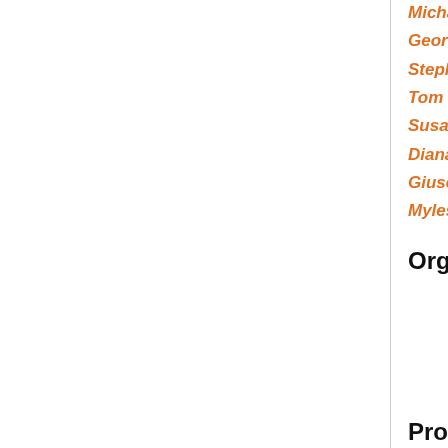Michael Barr, McGill Univ., Montreal, Canada
George Janelidze, Univ. Cape Town, South Africa
Stephen Lack (chair), Macquarie Univ., Sydney, Australia
Tom Leinster, Univ. Glasgow, UK
Susan Niefield, Union College, New York, USA
Diana Rodelo, Univ. Algarve, Faro, Portugal
Giuseppe Rosolini, Univ. Genova, Italy
Myles Tierney, Rutgers Univ., USA
Organizing Committee
John MacDonald (chair), UBC, Vancouver, Canada
Maret Christiansen, Vancouver, Canada
Jorge Picado, Univ. Coimbra, Portugal
Richard Wood, Dalhousie Univ., Halifax, Canada
Proceedings
A special issue of THEORY AND APPLICATIONS OF CATEGORIES. The guest editors are Marino Gran, George Janelidze...